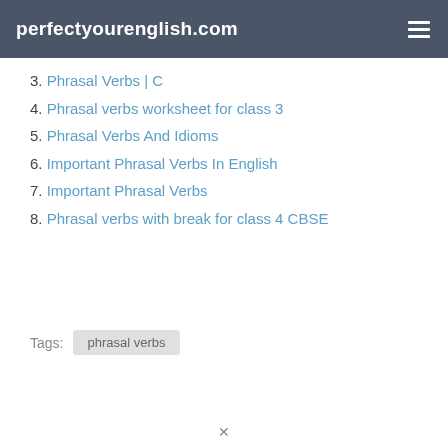perfectyourenglish.com
3. Phrasal Verbs | C
4. Phrasal verbs worksheet for class 3
5. Phrasal Verbs And Idioms
6. Important Phrasal Verbs In English
7. Important Phrasal Verbs
8. Phrasal verbs with break for class 4 CBSE
Tags: phrasal verbs